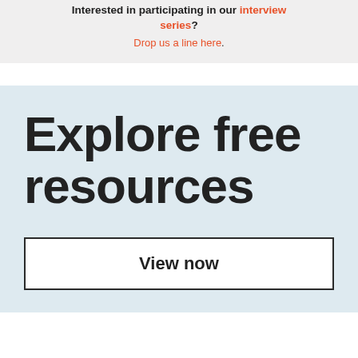Interested in participating in our interview series? Drop us a line here.
Explore free resources
View now